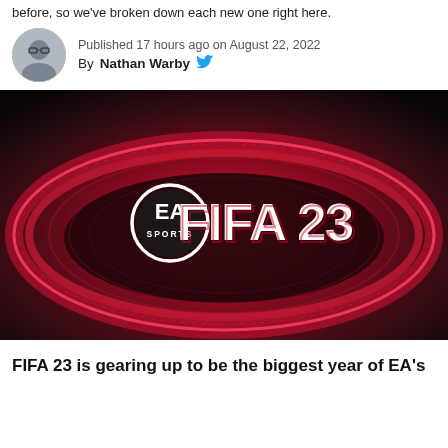before, so we've broken down each new one right here.
Published 17 hours ago on August 22, 2022
By Nathan Warby
[Figure (photo): FIFA 23 promotional image showing a football stadium lit in red with the EA Sports FIFA 23 logo overlaid]
FIFA 23 is gearing up to be the biggest year of EA's